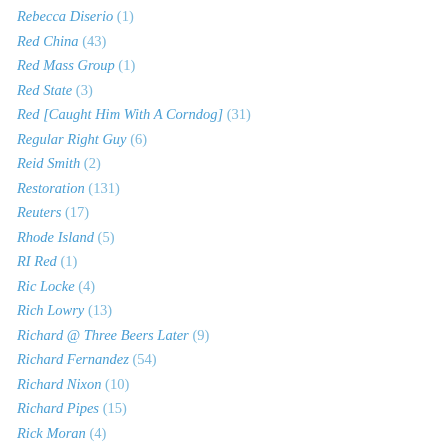Rebecca Diserio (1)
Red China (43)
Red Mass Group (1)
Red State (3)
Red [Caught Him With A Corndog] (31)
Regular Right Guy (6)
Reid Smith (2)
Restoration (131)
Reuters (17)
Rhode Island (5)
RI Red (1)
Ric Locke (4)
Rich Lowry (13)
Richard @ Three Beers Later (9)
Richard Fernandez (54)
Richard Nixon (10)
Richard Pipes (15)
Rick Moran (4)
Rick Perry (19)
Rick Richman (1)